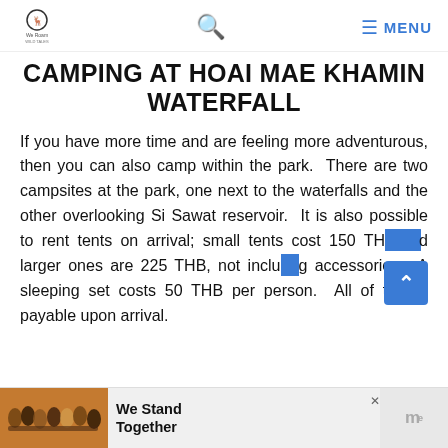CAMPING AT HOAI MAE KHAMIN WATERFALL
CAMPING AT HOAI MAE KHAMIN WATERFALL
If you have more time and are feeling more adventurous, then you can also camp within the park. There are two campsites at the park, one next to the waterfalls and the other overlooking Si Sawat reservoir. It is also possible to rent tents on arrival; small tents cost 150 THB and larger ones are 225 THB, not including accessories. A sleeping set costs 50 THB per person. All of this is payable upon arrival.
[Figure (photo): Advertisement banner showing a group of people with arms around each other, text 'We Stand Together' and a logo on the right]